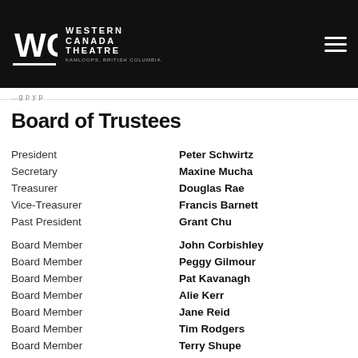[Figure (logo): Western Canada Theatre logo on black header bar with WCT initials and hamburger menu icon]
Board of Trustees
President – Peter Schwirtz
Secretary – Maxine Mucha
Treasurer – Douglas Rae
Vice-Treasurer – Francis Barnett
Past President – Grant Chu
Board Member – John Corbishley
Board Member – Peggy Gilmour
Board Member – Pat Kavanagh
Board Member – Alie Kerr
Board Member – Jane Reid
Board Member – Tim Rodgers
Board Member – Terry Shupe
Board Member – (name partially visible)